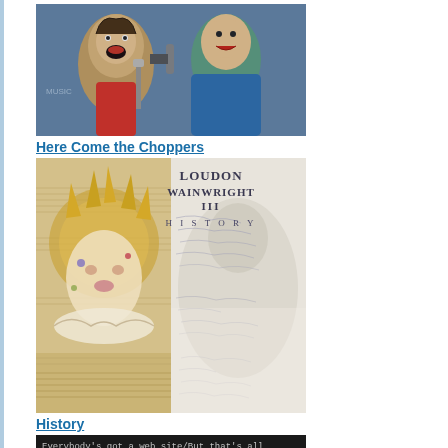[Figure (illustration): Comic-style illustration showing animated characters with musical instruments and expressive faces, colorful artwork]
Here Come the Choppers
[Figure (illustration): Loudon Wainwright III - History album cover artwork, split image: left side shows ornate collage with face surrounded by music sheets and golden textures; right side shows faded photograph with handwritten script overlay and text 'LOUDON WAINWRIGHT III HISTORY']
History
[Figure (screenshot): Dark background with monospace text lyrics: Everybody's got a web site/But that's all Greek to me/I don't own a computer/I hate that letter E/I don't pack a cell phone, with overlay text 'Loudon Wainwright III']